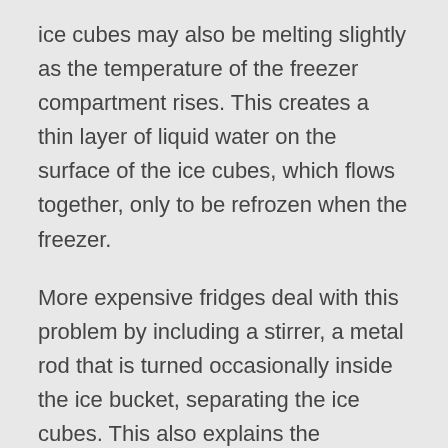ice cubes may also be melting slightly as the temperature of the freezer compartment rises. This creates a thin layer of liquid water on the surface of the ice cubes, which flows together, only to be refrozen when the freezer.
More expensive fridges deal with this problem by including a stirrer, a metal rod that is turned occasionally inside the ice bucket, separating the ice cubes. This also explains the mysterious noises that you may hear from your expensive fridge in the middle of the night: it isn't haunted, it is just stirring the ice. These more expensive fridges also separate the freezer and ice maker compartments, limiting the flow of cold air into the ice bucket so there is less moisture in the air to be captured.